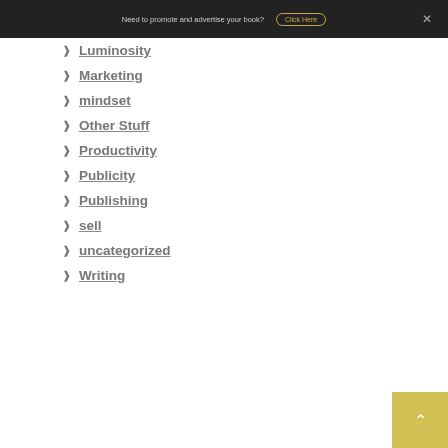Need to promote and advertise your book? Click Here
Luminosity
Marketing
mindset
Other Stuff
Productivity
Publicity
Publishing
sell
uncategorized
Writing